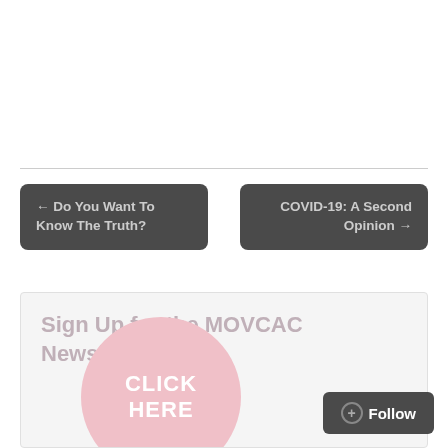← Do You Want To Know The Truth?
COVID-19: A Second Opinion →
Sign Up for the MOVCAC Newsletter
CLICK HERE